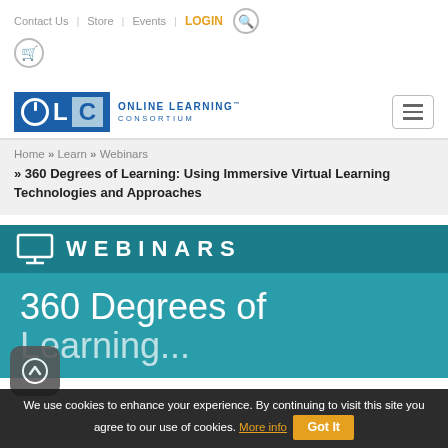Contact Us | Store | Events | LOGIN
[Figure (logo): OLC Online Learning Consortium logo with blue box containing power icon, L, light-blue C, and text ONLINE LEARNING CONSORTIUM]
Home » Learn » Webinars » 360 Degrees of Learning: Using Immersive Virtual Learning Technologies and Approaches
[Figure (infographic): Webinar banner with dark teal header bar showing monitor icon and WEBINARS text, and teal body showing '360 Degrees of' in large white text]
We use cookies to enhance your experience. By continuing to visit this site you agree to our use of cookies. More info Got It